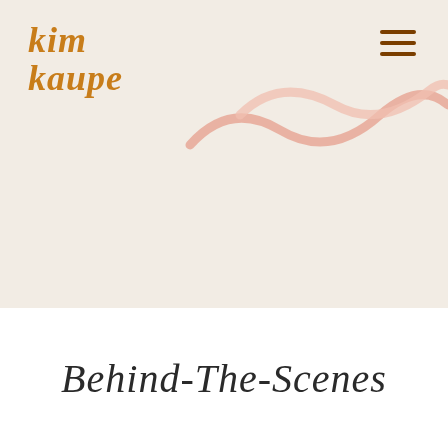[Figure (logo): Kim Kaupe brand logo in bold italic orange/amber serif text, two lines: 'kim' and 'kaupe']
[Figure (illustration): Decorative wavy pink/salmon brushstroke lines in the upper center-right area of the beige background header section, plus a hamburger menu icon (three horizontal dark brown lines) in the top right corner]
Behind-The-Scenes